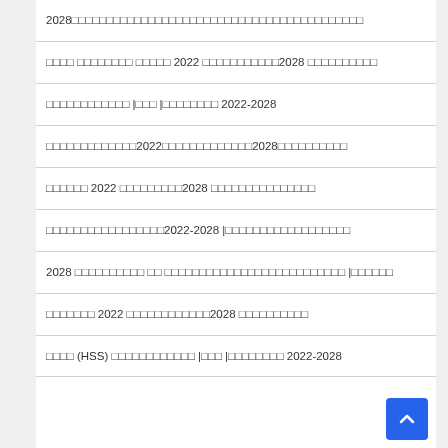2028□□□□□□□□□□□□□□□□□□□□□□□□□□□□□□□□□□□□□□□□□□
□□□□ □□□□□□□□ □□□□□ 2022 □□□□□□□□□□□2028 □□□□□□□□□□
□□□□□□□□□□□□ |□□□ |□□□□□□□□ 2022-2028
□□□□□□□□□□□□□2022□□□□□□□□□□□□□2028□□□□□□□□□□
□□□□□□ 2022 □□□□□□□□□2028 □□□□□□□□□□□□□□□
□□□□□□□□□□□□□□□□□2022-2028 |□□□□□□□□□□□□□□□□□□
2028 □□□□□□□□□□ □□ □□□□□□□□□□□□□□□□□□□□□□□□□□ |□□□□□□
□□□□□□□ 2022 □□□□□□□□□□□□2028 □□□□□□□□□□
□□□□ (HSS) □□□□□□□□□□□□ |□□□ |□□□□□□□□ 2022-2028